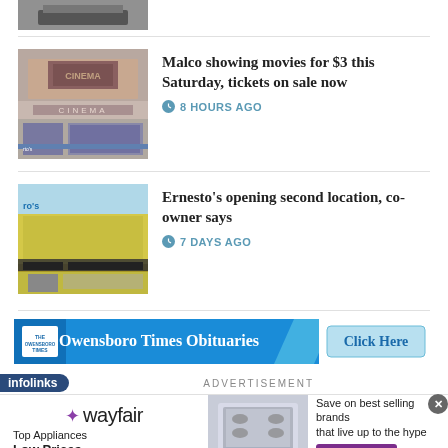[Figure (photo): Cropped top portion of a truck/vehicle photo]
[Figure (photo): Malco cinema building exterior]
Malco showing movies for $3 this Saturday, tickets on sale now
8 HOURS AGO
[Figure (photo): Ernesto's restaurant building exterior - yellow stucco building with awnings]
Ernesto's opening second location, co-owner says
7 DAYS AGO
[Figure (infographic): Owensboro Times Obituaries advertisement banner with Click Here button]
infolinks
ADVERTISEMENT
[Figure (infographic): Wayfair advertisement: Top Appliances Low Prices, Save on best selling brands that live up to the hype, Shop now button]